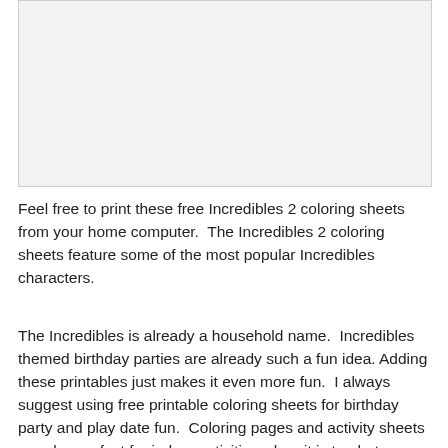[Figure (other): Blank light gray image placeholder area at the top of the page]
Feel free to print these free Incredibles 2 coloring sheets from your home computer.  The Incredibles 2 coloring sheets feature some of the most popular Incredibles characters.
The Incredibles is already a household name.  Incredibles themed birthday parties are already such a fun idea.  Adding these printables just makes it even more fun.  I always suggest using free printable coloring sheets for birthday party and play date fun.  Coloring pages and activity sheets are also perfect for indoor activities when it is too hot or raining outside.  Make sure to keep them on